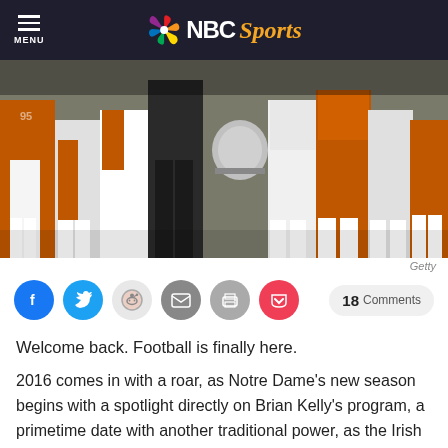MENU | NBC Sports
[Figure (photo): Football players on sideline, Texas Longhorns and Notre Dame players visible, legs and lower bodies shown]
Getty
[Figure (infographic): Social sharing buttons: Facebook, Twitter, Reddit, Email, Print, Pocket, and 18 Comments button]
Welcome back. Football is finally here.
2016 comes in with a roar, as Notre Dame's new season begins with a spotlight directly on Brian Kelly's program, a primetime date with another traditional power, as the Irish head to Austin to take on the Texas Longhorns. A year after embarrassing Texas and landing an early-